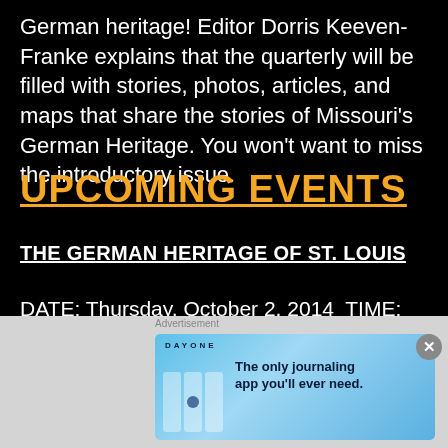German heritage! Editor Dorris Keeven-Franke explains that the quarterly will be filled with stories, photos, articles, and maps that share the stories of Missouri's German Heritage. You won't want to miss the introductory issue.
UPCOMING EVENTS
THE GERMAN HERITAGE OF ST. LOUIS
DATE: Thursday, October 2, 2014  TIME: 6:30–7:30 P.M. Sponsored by: Maplewood Public Library, 7550 Lohmeyer, Maplewood, Mo. 63143. 314-781-2174 www.maplewood.lib.mo.us
[Figure (other): Advertisement for Day One journaling app with light blue background and text: The only journaling app you'll ever need.]